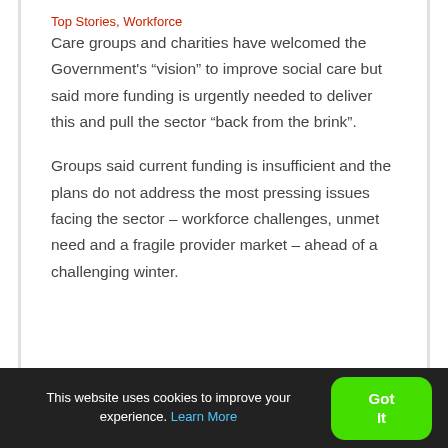Top Stories, Workforce
Care groups and charities have welcomed the Government's “vision” to improve social care but said more funding is urgently needed to deliver this and pull the sector “back from the brink”.
Groups said current funding is insufficient and the plans do not address the most pressing issues facing the sector – workforce challenges, unmet need and a fragile provider market – ahead of a challenging winter.
This website uses cookies to improve your experience. Learn More
Got It